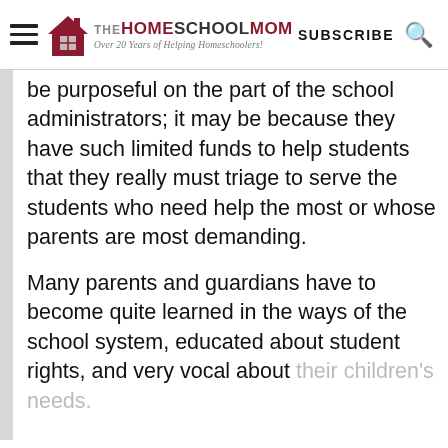THE HOMESCHOOLMOM - Over 20 Years of Helping Homeschoolers! | SUBSCRIBE
be purposeful on the part of the school administrators; it may be because they have such limited funds to help students that they really must triage to serve the students who need help the most or whose parents are most demanding.
Many parents and guardians have to become quite learned in the ways of the school system, educated about student rights, and very vocal about their children's needs.